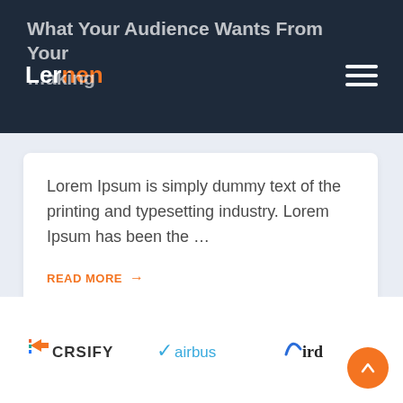Lernen
What Your Audience Wants From Your ... aking
Lorem Ipsum is simply dummy text of the printing and typesetting industry. Lorem Ipsum has been the ...
READ MORE →
[Figure (logo): CRSIFY logo with arrow icon]
[Figure (logo): Airbus logo with checkmark style icon]
[Figure (logo): Bird logo partial]